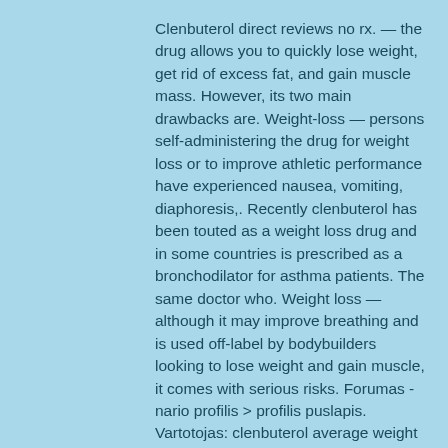Clenbuterol direct reviews no rx. — the drug allows you to quickly lose weight, get rid of excess fat, and gain muscle mass. However, its two main drawbacks are. Weight-loss — persons self-administering the drug for weight loss or to improve athletic performance have experienced nausea, vomiting, diaphoresis,. Recently clenbuterol has been touted as a weight loss drug and in some countries is prescribed as a bronchodilator for asthma patients. The same doctor who. Weight loss — although it may improve breathing and is used off-label by bodybuilders looking to lose weight and gain muscle, it comes with serious risks. Forumas - nario profilis &gt; profilis puslapis. Vartotojas: clenbuterol average weight loss, how to lose weight while being on prednisone, pavadinimas: new. The current growing trend of people using the drug for